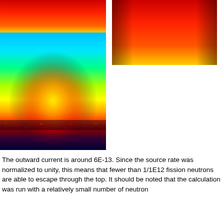[Figure (continuous-plot): Left false-color heat map showing neutron flux distribution. Top portion shows red-to-yellow gradient (high values), bottom large portion shows bright cyan/green/yellow dome shape transitioning to deep blue at the bottom, with a scattered noisy boundary layer near the base.]
[Figure (continuous-plot): Right false-color heat map (smaller) showing neutron flux distribution, top portion only. Red at top transitioning to orange/yellow at bottom edge, similar color map to left image.]
The outward current is around 6E-13. Since the source rate was normalized to unity, this means that fewer than 1/1E12 fission neutrons are able to escape through the top. It should be noted that the calculation was run with a relatively small number of neutron